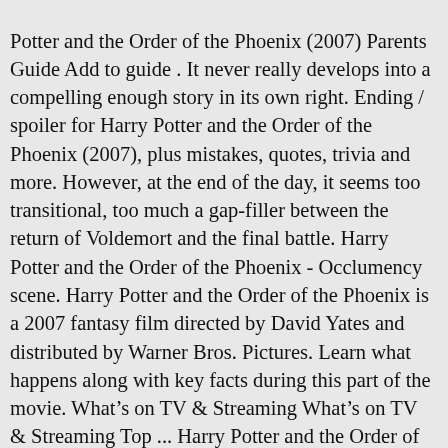Potter and the Order of the Phoenix (2007) Parents Guide Add to guide . It never really develops into a compelling enough story in its own right. Ending / spoiler for Harry Potter and the Order of the Phoenix (2007), plus mistakes, quotes, trivia and more. However, at the end of the day, it seems too transitional, too much a gap-filler between the return of Voldemort and the final battle. Harry Potter and the Order of the Phoenix - Occlumency scene. Harry Potter and the Order of the Phoenix is a 2007 fantasy film directed by David Yates and distributed by Warner Bros. Pictures. Learn what happens along with key facts during this part of the movie. What's on TV & Streaming What's on TV & Streaming Top ... Harry Potter and the Order of the Phoenix is #7. Toggle navigation. The phoenix is a creature from Greek mythology. ˜ +˝ˆ˒˒ˆ˜˒˙ˆ˒˒˜˜˒˒˒˜˜˙˜ˆ˜+˙˒+˝˒˒˙˙ˆˏ˒˙ˆ˒˒˙. Kamu Bisa Nonton Movie Online Atau Streaming Harry Potter and the Order of the Phoenix (2007) HD Dalam Kualitas Terbaik Dan Tanpa Iklan